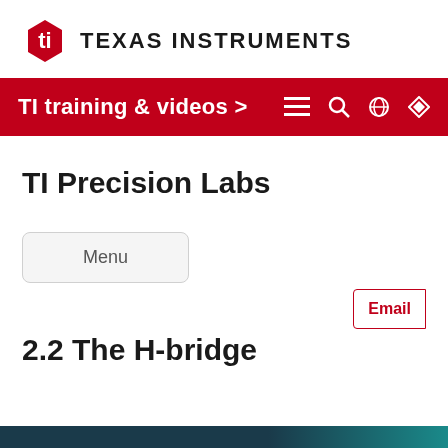[Figure (logo): Texas Instruments logo with red torch/flame icon and 'Texas Instruments' text in bold uppercase]
TI training & videos >
TI Precision Labs
Menu
2.2 The H-bridge